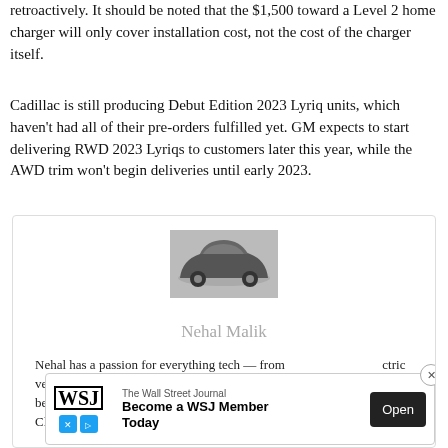retroactively. It should be noted that the $1,500 toward a Level 2 home charger will only cover installation cost, not the cost of the charger itself.
Cadillac is still producing Debut Edition 2023 Lyriq units, which haven't had all of their pre-orders fulfilled yet. GM expects to start delivering RWD 2023 Lyriqs to customers later this year, while the AWD trim won't begin deliveries until early 2023.
[Figure (photo): Author card with a black luxury electric car (Cadillac Lyriq) image, author name 'Nehal Malik', and partial author bio text]
Nehal has a passion for everything tech — from electric vehicles to coffee! Click h... with